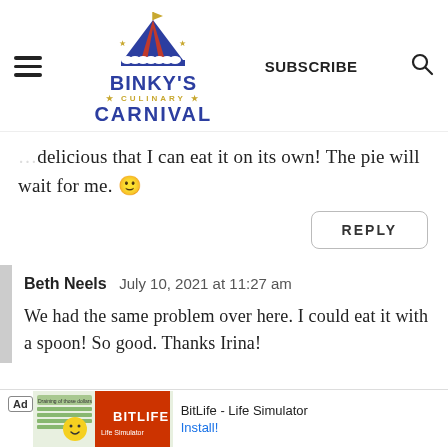Binky's Culinary Carnival — SUBSCRIBE
delicious that I can eat it on its own! The pie will wait for me. 🙂
REPLY
Beth Neels  July 10, 2021 at 11:27 am
We had the same problem over here. I could eat it with a spoon! So good. Thanks Irina!
Ad  BitLife - Life Simulator  Install!